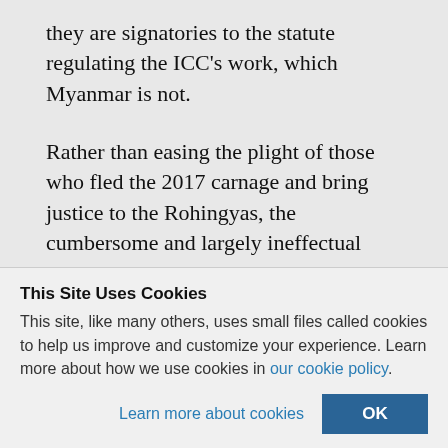they are signatories to the statute regulating the ICC's work, which Myanmar is not.
Rather than easing the plight of those who fled the 2017 carnage and bring justice to the Rohingyas, the cumbersome and largely ineffectual legal procedures may actually lead to the refugees rather than the
This Site Uses Cookies
This site, like many others, uses small files called cookies to help us improve and customize your experience. Learn more about how we use cookies in our cookie policy.
Learn more about cookies
OK